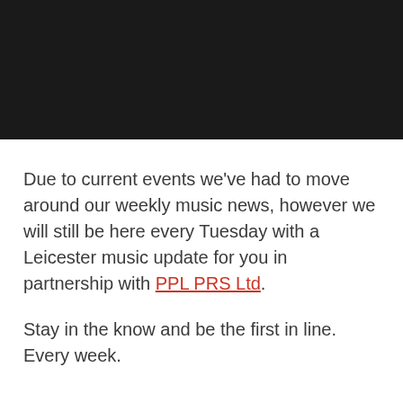[Figure (other): Dark/black background banner image at top of page]
Due to current events we've had to move around our weekly music news, however we will still be here every Tuesday with a Leicester music update for you in partnership with PPL PRS Ltd.
Stay in the know and be the first in line. Every week.